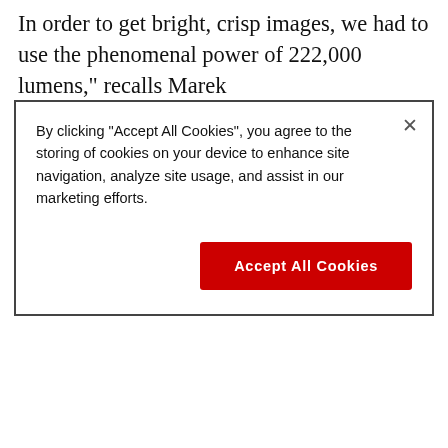In order to get bright, crisp images, we had to use the phenomenal power of 222,000 lumens," recalls Marek
[Figure (screenshot): Cookie consent banner overlay with text: 'By clicking "Accept All Cookies", you agree to the storing of cookies on your device to enhance site navigation, analyze site usage, and assist in our marketing efforts.' and a red 'Accept All Cookies' button, with an X close button in top right.]
decided to use an existing tree located on the central axis of the museum wall as part of the picture. We illuminated it with our Barco HDF-W26 projector. In addition, we used our HDX-W18 projectors to project live onto the screens located at the sides of the stage. Altogether, it was a fantastic spectacle that got ample press coverage," Wasilewski concluded.